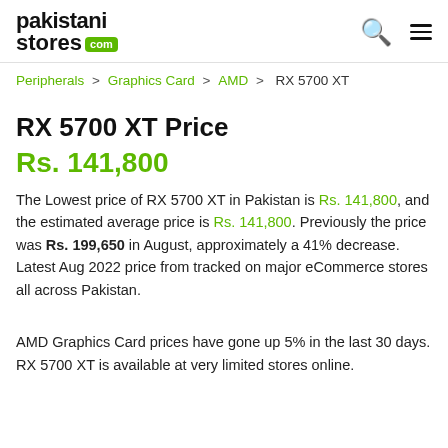pakistanistores.com
Peripherals > Graphics Card > AMD > RX 5700 XT
RX 5700 XT Price
Rs. 141,800
The Lowest price of RX 5700 XT in Pakistan is Rs. 141,800, and the estimated average price is Rs. 141,800. Previously the price was Rs. 199,650 in August, approximately a 41% decrease. Latest Aug 2022 price from tracked on major eCommerce stores all across Pakistan.
AMD Graphics Card prices have gone up 5% in the last 30 days. RX 5700 XT is available at very limited stores online.